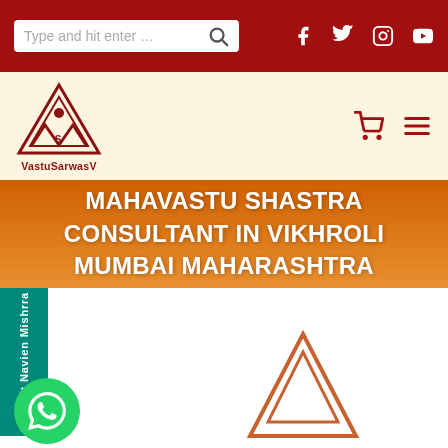Type and hit enter ... [search] [Facebook] [Twitter] [Instagram] [YouTube]
[Figure (logo): VastuSarwasV logo - triangle with VSV letters and eye symbol, with text VastuSarwasV below]
MAHAVASTU SHASTRA CONSULTANT IN VIKHROLI MUMBAI MAHARASHTRA
[Figure (other): Teal vertical side tab with rotated text 'Consult Navien Mishrra', green WhatsApp button with phone icon at bottom left, and partial VSV logo watermark at bottom center-right]